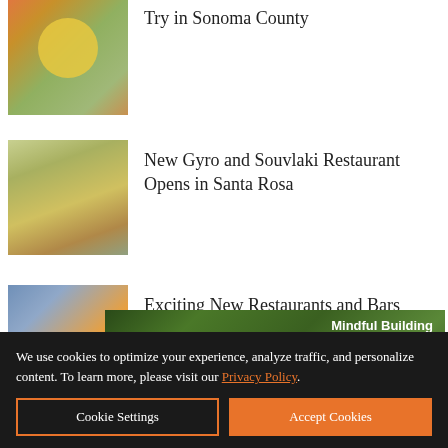[Figure (photo): Food bowl with yellow egg/sauce and colorful toppings]
Try in Sonoma County
[Figure (photo): Gyro/souvlaki dish with pita and toppings]
New Gyro and Souvlaki Restaurant Opens in Santa Rosa
[Figure (photo): Hand holding food item, restaurant scene]
Exciting New Restaurants and Bars
[Figure (photo): Earthtone Construction advertisement banner with purple flowers and butterfly, text: Mindful Building, Earthtone CONSTRUCTION, Learn more >, UC.744848]
We use cookies to optimize your experience, analyze traffic, and personalize content. To learn more, please visit our Privacy Policy.
Cookie Settings
Accept Cookies